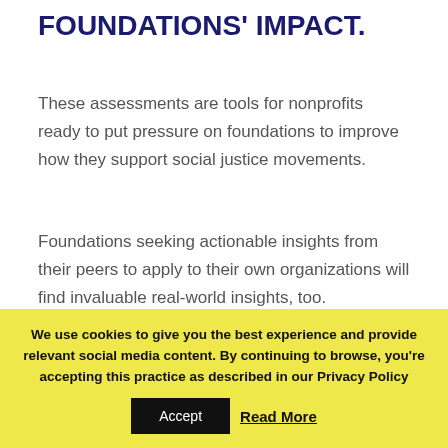FOUNDATIONS' IMPACT.
These assessments are tools for nonprofits ready to put pressure on foundations to improve how they support social justice movements.
Foundations seeking actionable insights from their peers to apply to their own organizations will find invaluable real-world insights, too.
NCRP has conducted 12 assessments of foundations across the U.S., including:
We use cookies to give you the best experience and provide relevant social media content. By continuing to browse, you're accepting this practice as described in our Privacy Policy
Accept
Read More